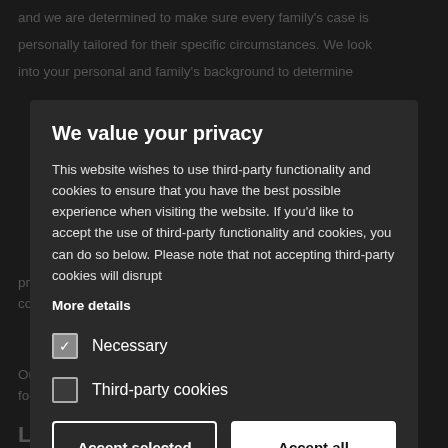and we are determined to make sure every family's case is personally tailored for their specific circumstances. We look into your personal and family's background to determine the best course of action. Our team has a wealth of experience providing a high level of expertise and knowledge when it comes to solving family law issues.
We value your privacy
This website wishes to use third-party functionality and cookies to ensure that you have the best possible experience when visiting the website. If you'd like to accept the use of third-party functionality and cookies, you can do so below. Please note that not accepting third-party cookies will disrupt
More details
Necessary
Third-party cookies
Accept selected
Accept all
Leave a comment